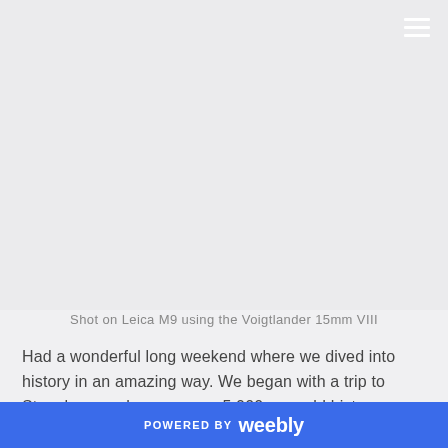[Figure (photo): Large image placeholder area with light gray background]
Shot on Leica M9 using the Voigtlander 15mm VIII
Had a wonderful long weekend where we dived into history in an amazing way. We began with a trip to Stonehenge where we saw 5,000 year old history. Stonehenge is one of those places that you have to go and see but when you actually get
POWERED BY weebly